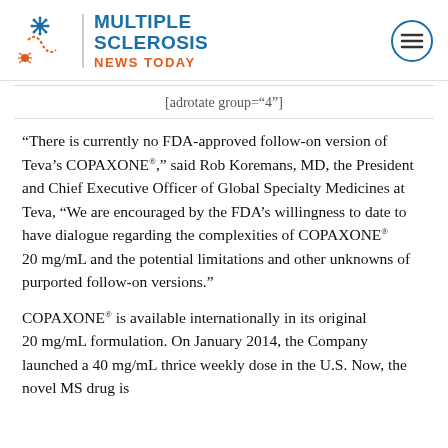MULTIPLE SCLEROSIS NEWS TODAY
[adrotate group="4"]
“There is currently no FDA-approved follow-on version of Teva’s COPAXONE®,” said Rob Koremans, MD, the President and Chief Executive Officer of Global Specialty Medicines at Teva, “We are encouraged by the FDA’s willingness to date to have dialogue regarding the complexities of COPAXONE® 20 mg/mL and the potential limitations and other unknowns of purported follow-on versions.”
COPAXONE® is available internationally in its original 20 mg/mL formulation. On January 2014, the Company launched a 40 mg/mL thrice weekly dose in the U.S. Now, the novel MS drug is